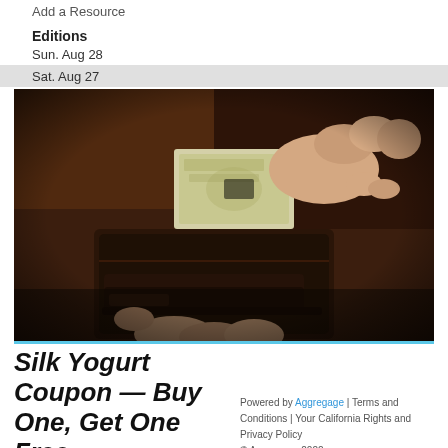Add a Resource
Editions
Sun. Aug 28
Sat. Aug 27
[Figure (photo): Close-up photo of hands pulling a dollar bill from a dark leather wallet]
Silk Yogurt Coupon — Buy One, Get One Free
Powered by Aggregage | Terms and Conditions | Your California Rights and Privacy Policy © Aggregage 2022